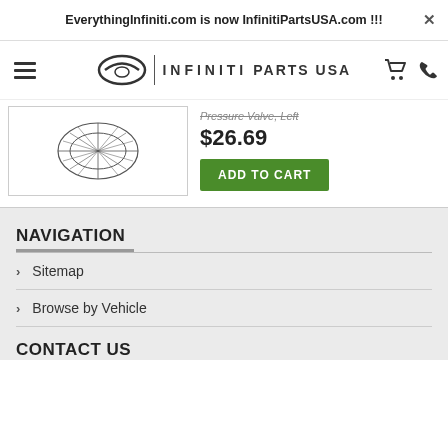EverythingInfiniti.com is now InfinitiPartsUSA.com !!!
[Figure (logo): Infiniti Parts USA logo with infinity symbol, vertical divider, brand name INFINITI PARTS USA, cart icon and phone icon]
[Figure (illustration): Technical line drawing of an auto part (valve)]
Pressure Valve, Left
$26.69
ADD TO CART
NAVIGATION
Sitemap
Browse by Vehicle
CONTACT US